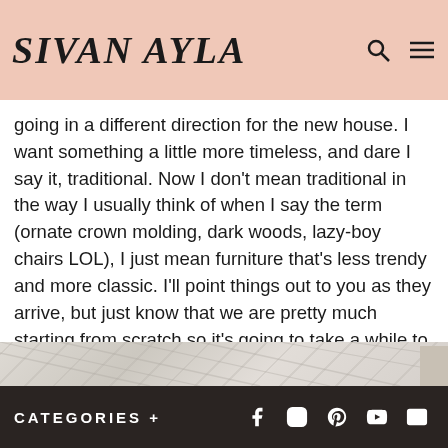SIVAN AYLA
going in a different direction for the new house. I want something a little more timeless, and dare I say it, traditional. Now I don't mean traditional in the way I usually think of when I say the term (ornate crown molding, dark woods, lazy-boy chairs LOL), I just mean furniture that's less trendy and more classic. I'll point things out to you as they arrive, but just know that we are pretty much starting from scratch so it's going to take a while to get things furnished.
[Figure (photo): Close-up photo of a light-colored textured fabric or upholstered surface, likely a sofa or headboard, with subtle diagonal texture lines. A dark furniture element is partially visible at the bottom right corner.]
CATEGORIES +